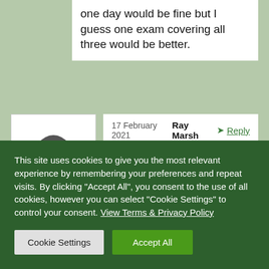one day would be fine but I guess one exam covering all three would be better.
17 February 2021  Ray Marsh  Reply
I couldn't agree more Bob. I took the RAE in 68 and have never had a superiority complex. I joined two radio groups one for the intermediate exam and the other for the full. My only purpose in being a member of them is
This site uses cookies to give you the most relevant experience by remembering your preferences and repeat visits. By clicking "Accept All", you consent to the use of all cookies, however you can select "Cookie Settings" to control your consent. View Terms & Privacy Policy
Cookie Settings
Accept All